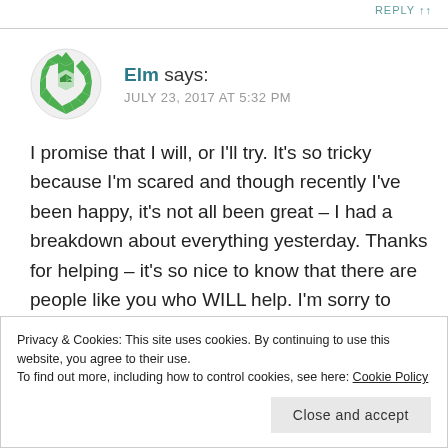REPLY ↑↑
[Figure (illustration): Green geometric/floral avatar icon for user Elm]
Elm says:
JULY 23, 2017 AT 5:32 PM
I promise that I will, or I'll try. It's so tricky because I'm scared and though recently I've been happy, it's not all been great – I had a breakdown about everything yesterday. Thanks for helping – it's so nice to know that there are people like you who WILL help. I'm sorry to hear about how you've been suffering – if you ever need anyone
Privacy & Cookies: This site uses cookies. By continuing to use this website, you agree to their use.
To find out more, including how to control cookies, see here: Cookie Policy
Close and accept